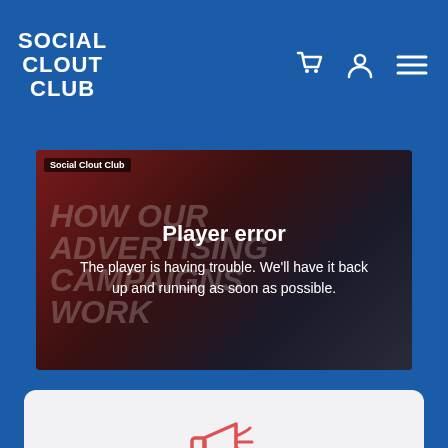SOCIAL CLOUT CLUB
[Figure (screenshot): Video player area showing 'HOW OUR ADVERTISING CAMPAIGNS WORK' text in background with a player error overlay message and a smartphone image in the background]
Player error
The player is having trouble. We'll have it back up and running as soon as possible.
[Figure (illustration): Megaphone/loudspeaker icon in coral/salmon color]
Influencers or celebrities will host a campaign on their Instagram page.